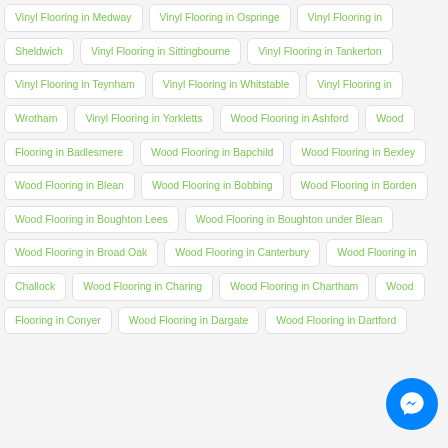Vinyl Flooring in Medway
Vinyl Flooring in Ospringe
Vinyl Flooring in Sheldwich
Vinyl Flooring in Sittingbourne
Vinyl Flooring in Tankerton
Vinyl Flooring in Teynham
Vinyl Flooring in Whitstable
Vinyl Flooring in Wrotham
Vinyl Flooring in Yorkletts
Wood Flooring in Ashford
Wood Flooring in Badlesmere
Wood Flooring in Bapchild
Wood Flooring in Bexley
Wood Flooring in Blean
Wood Flooring in Bobbing
Wood Flooring in Borden
Wood Flooring in Boughton Lees
Wood Flooring in Boughton under Blean
Wood Flooring in Broad Oak
Wood Flooring in Canterbury
Wood Flooring in Challock
Wood Flooring in Charing
Wood Flooring in Chartham
Wood Flooring in Conyer
Wood Flooring in Dargate
Wood Flooring in Dartford